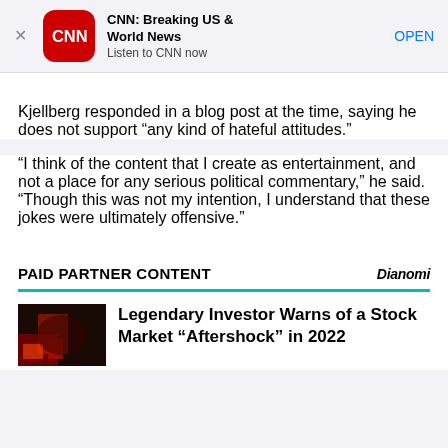[Figure (screenshot): CNN app advertisement banner with CNN logo, title 'CNN: Breaking US & World News', subtitle 'Listen to CNN now', and OPEN button]
Kjellberg responded in a blog post at the time, saying he does not support “any kind of hateful attitudes.”
“I think of the content that I create as entertainment, and not a place for any serious political commentary,” he said. “Though this was not my intention, I understand that these jokes were ultimately offensive.”
PAID PARTNER CONTENT
Dianomi
Legendary Investor Warns of a Stock Market “Aftershock” in 2022